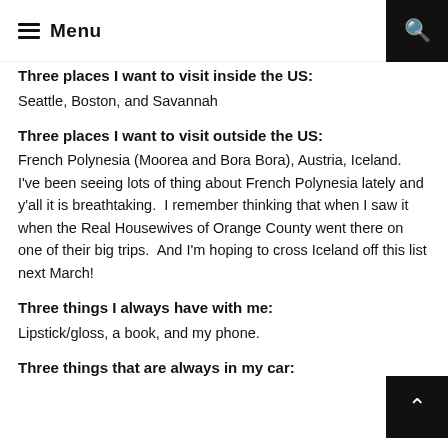Menu
Three places I want to visit inside the US:
Seattle, Boston, and Savannah
Three places I want to visit outside the US:
French Polynesia (Moorea and Bora Bora), Austria, Iceland.  I've been seeing lots of thing about French Polynesia lately and y'all it is breathtaking.  I remember thinking that when I saw it when the Real Housewives of Orange County went there on one of their big trips.  And I'm hoping to cross Iceland off this list next March!
Three things I always have with me:
Lipstick/gloss, a book, and my phone.
Three things that are always in my car: